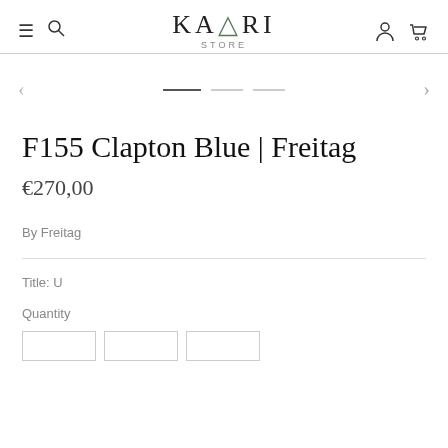KAURI STORE
[Figure (other): Carousel navigation with left arrow, three dot indicators (one dark, two light), and right arrow]
F155 Clapton Blue | Freitag
€270,00
By Freitag
Title: U
Quantity